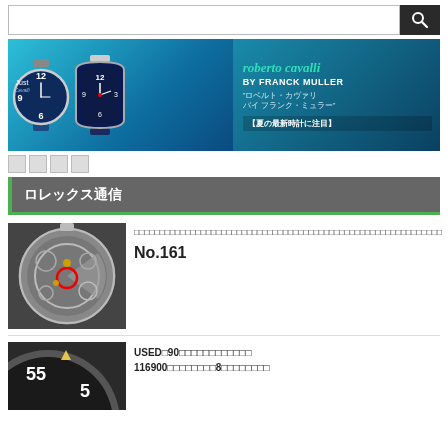[Figure (screenshot): Search bar with magnifying glass icon on dark background]
[Figure (photo): Roberto Cavalli by Franck Muller advertisement banner showing two watches with Japanese text]
□□□□
ロレックス通信
[Figure (photo): Close-up photo of a watch movement/caliber showing mechanical internals with red circle highlight]
□□□□□□□□□□□□□□□□□□□□□□□□□□□□□□□□□□□□□□□□□□□□□□□□□□□□□□□□□□□□
No.161
[Figure (photo): Partial photo of a Rolex sport watch dial showing numerals 55 and 5]
USED□90□□□□□□□□□□□□
116900□□□□□□□□8□□□□□□□□